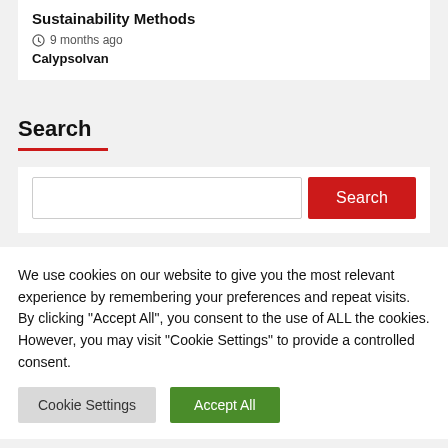Sustainability Methods
9 months ago
Calypsolvan
Search
[Figure (screenshot): Search input field with a red Search button]
We use cookies on our website to give you the most relevant experience by remembering your preferences and repeat visits. By clicking "Accept All", you consent to the use of ALL the cookies. However, you may visit "Cookie Settings" to provide a controlled consent.
Cookie Settings
Accept All